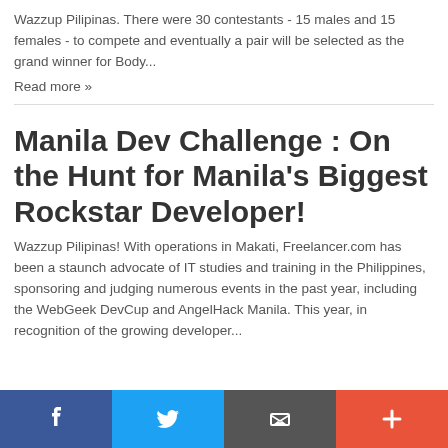Wazzup Pilipinas. There were 30 contestants - 15 males and 15 females - to compete and eventually a pair will be selected as the grand winner for Body...
Read more »
Manila Dev Challenge : On the Hunt for Manila's Biggest Rockstar Developer!
Wazzup Pilipinas! With operations in Makati, Freelancer.com has been a staunch advocate of IT studies and training in the Philippines, sponsoring and judging numerous events in the past year, including the WebGeek DevCup and AngelHack Manila. This year, in recognition of the growing developer...